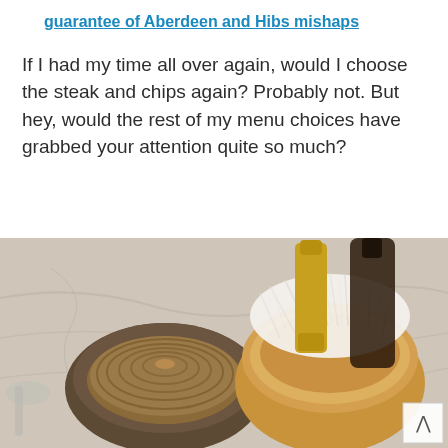guarantee of Aberdeen and Hibs mishaps
If I had my time all over again, would I choose the steak and chips again? Probably not. But hey, would the rest of my menu choices have grabbed your attention quite so much?
[Figure (photo): Restaurant table scene showing a ceramic bowl with thinly sliced stacked potatoes/dauphinoise and a bread roll or pastry topped with grated white cheese (parmesan), on a marble table surface with brass condiment holders in the background.]